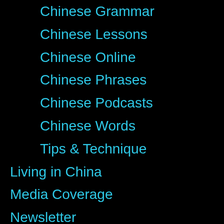Chinese Grammar
Chinese Lessons
Chinese Online
Chinese Phrases
Chinese Podcasts
Chinese Words
Tips & Technique
Living in China
Media Coverage
Newsletter
Site Features
Feature Spotlight
Tutorials
Success Stories
Teaching Chinese
Teach Chinese Abroad